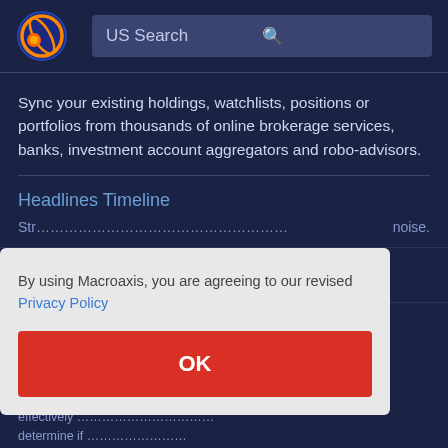US Search
Sync your existing holdings, watchlists, positions or portfolios from thousands of online brokerage services, banks, investment account aggregators and robo-advisors.
Headlines Timeline
By using Macroaxis, you are agreeing to our revised Privacy Policy
OK